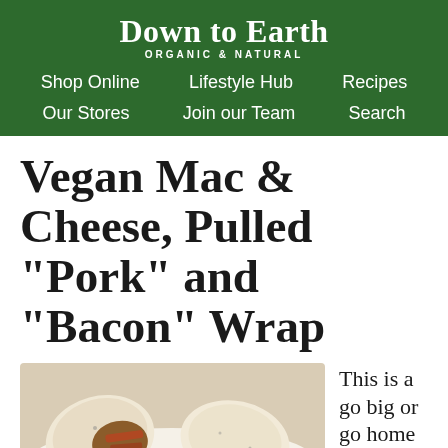Down to Earth ORGANIC & NATURAL
Shop Online   Lifestyle Hub   Recipes
Our Stores   Join our Team   Search
Vegan Mac & Cheese, Pulled "Pork" and "Bacon" Wrap
[Figure (photo): A wrap cut and displayed on a white plate, showing filling inside including what appears to be pulled pork-style filling and bacon-style strips.]
This is a go big or go home